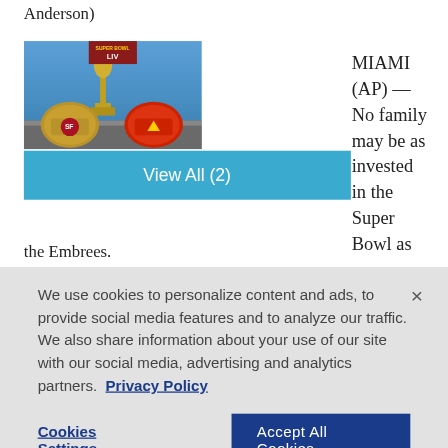Anderson)
[Figure (photo): Super Bowl LIV promotional display with two helmets (San Francisco 49ers and Kansas City Chiefs) flanking the Vince Lombardi Trophy, with LIV branding visible on both sides]
View All (2)
MIAMI (AP) — No family may be as invested in the Super Bowl as the Embrees.
We use cookies to personalize content and ads, to provide social media features and to analyze our traffic. We also share information about your use of our site with our social media, advertising and analytics partners. Privacy Policy
Cookies Settings
Accept All Cookies